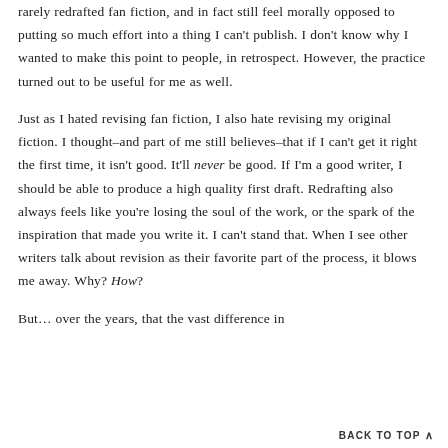rarely redrafted fan fiction, and in fact still feel morally opposed to putting so much effort into a thing I can't publish. I don't know why I wanted to make this point to people, in retrospect. However, the practice turned out to be useful for me as well.
Just as I hated revising fan fiction, I also hate revising my original fiction. I thought–and part of me still believes–that if I can't get it right the first time, it isn't good. It'll never be good. If I'm a good writer, I should be able to produce a high quality first draft. Redrafting also always feels like you're losing the soul of the work, or the spark of the inspiration that made you write it. I can't stand that. When I see other writers talk about revision as their favorite part of the process, it blows me away. Why? How?
But… over the years, that the vast difference in quality between first and second drafts…
BACK TO TOP